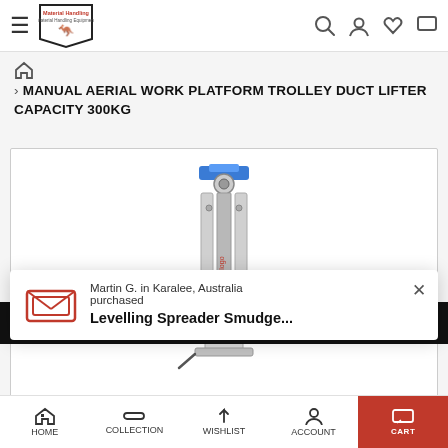Navigation bar with hamburger menu, logo (Material Handling Equipment kangaroo), search, account, wishlist, cart icons
> MANUAL AERIAL WORK PLATFORM TROLLEY DUCT LIFTER CAPACITY 300KG
[Figure (photo): Product photo of a Manual Aerial Work Platform Trolley Duct Lifter - a tall silver/aluminium column with blue top, mounted on a base with adjustment mechanisms]
Or... on
Martin G. in Karalee, Australia purchased
Levelling Spreader Smudge...
HOME | COLLECTION | WISHLIST | ACCOUNT | CART